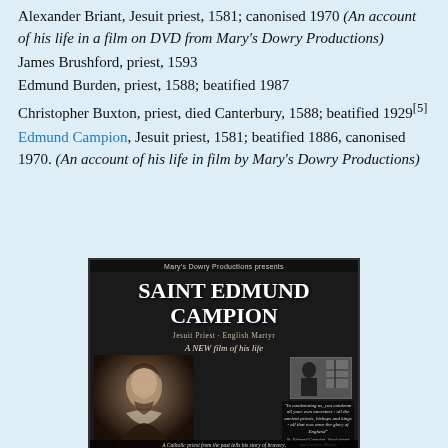Alexander Briant, Jesuit priest, 1581; canonised 1970 (An account of his life in a film on DVD from Mary's Dowry Productions)
James Brushford, priest, 1593
Edmund Burden, priest, 1588; beatified 1987
Christopher Buxton, priest, died Canterbury, 1588; beatified 1929[5]
Edmund Campion, Jesuit priest, 1581; beatified 1886, canonised 1970. (An account of his life in film by Mary's Dowry Productions)
[Figure (photo): DVD cover for 'Saint Edmund Campion, Jesuit Priest - English Martyr, A NEW film of his life' by Mary's Dowry Productions, showing a portrait of Edmund Campion and a scene image, with a quote and bottom tagline.]